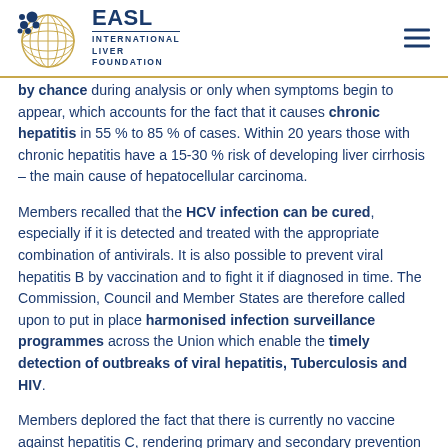EASL INTERNATIONAL LIVER FOUNDATION
by chance during analysis or only when symptoms begin to appear, which accounts for the fact that it causes chronic hepatitis in 55 % to 85 % of cases. Within 20 years those with chronic hepatitis have a 15-30 % risk of developing liver cirrhosis – the main cause of hepatocellular carcinoma.
Members recalled that the HCV infection can be cured, especially if it is detected and treated with the appropriate combination of antivirals. It is also possible to prevent viral hepatitis B by vaccination and to fight it if diagnosed in time. The Commission, Council and Member States are therefore called upon to put in place harmonised infection surveillance programmes across the Union which enable the timely detection of outbreaks of viral hepatitis, Tuberculosis and HIV.
Members deplored the fact that there is currently no vaccine against hepatitis C, rendering primary and secondary prevention crucial.
Lastly, they called on the Commission to launch a multidisciplinary